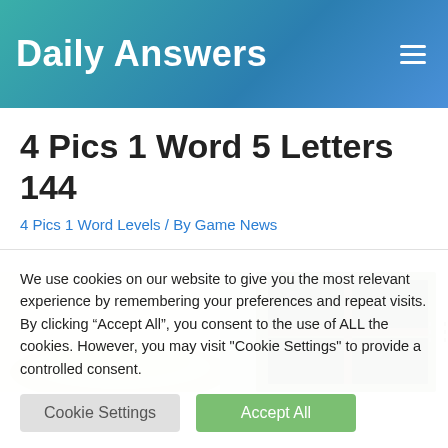Daily Answers
4 Pics 1 Word 5 Letters 144
4 Pics 1 Word Levels / By Game News
[Figure (photo): Partial view of photos including an open book with colorful pages and a broken window with wooden frame]
We use cookies on our website to give you the most relevant experience by remembering your preferences and repeat visits. By clicking “Accept All”, you consent to the use of ALL the cookies. However, you may visit "Cookie Settings" to provide a controlled consent.